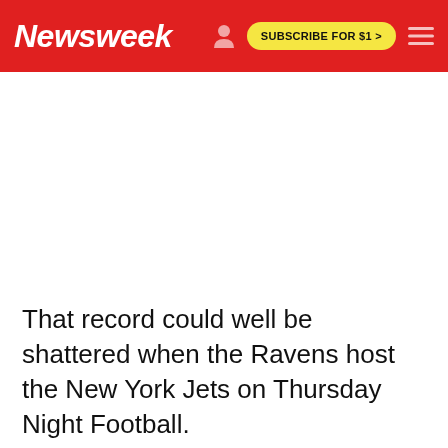Newsweek  SUBSCRIBE FOR $1 >
That record could well be shattered when the Ravens host the New York Jets on Thursday Night Football.